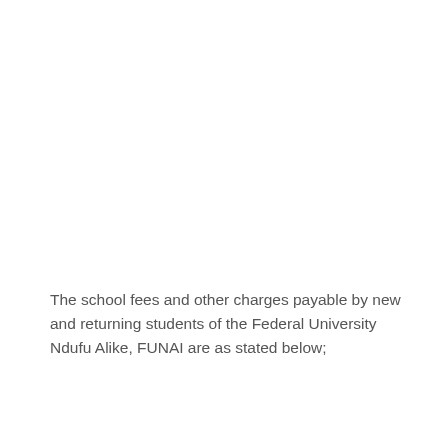The school fees and other charges payable by new and returning students of the Federal University Ndufu Alike, FUNAI are as stated below;